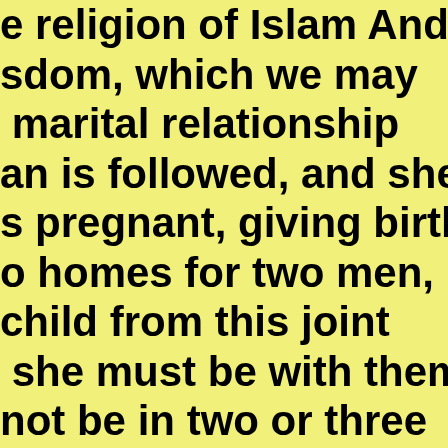e religion of Islam And sdom, which we may marital relationship an is followed, and she s pregnant, giving birth o homes for two men, child from this joint she must be with them not be in two or three equired to obey her d the decision in the permission And you n as a polytheist who onotheist who only